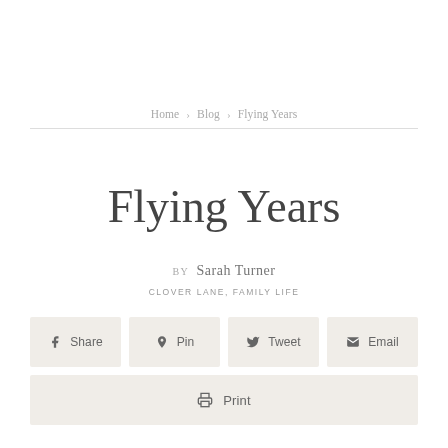Home > Blog > Flying Years
Flying Years
BY Sarah Turner
CLOVER LANE, FAMILY LIFE
[Figure (other): Social share buttons row: Share, Pin, Tweet, Email]
[Figure (other): Print button]